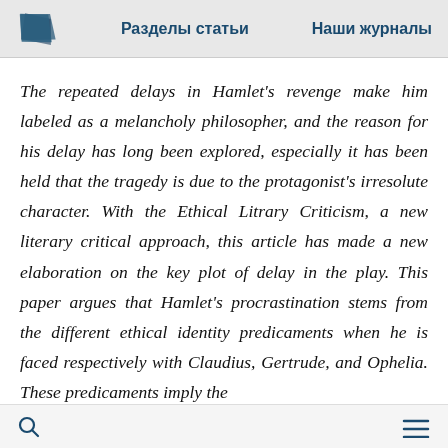Разделы статьи   Наши журналы
The repeated delays in Hamlet's revenge make him labeled as a melancholy philosopher, and the reason for his delay has long been explored, especially it has been held that the tragedy is due to the protagonist's irresolute character. With the Ethical Litrary Criticism, a new literary critical approach, this article has made a new elaboration on the key plot of delay in the play. This paper argues that Hamlet's procrastination stems from the different ethical identity predicaments when he is faced respectively with Claudius, Gertrude, and Ophelia. These predicaments imply the